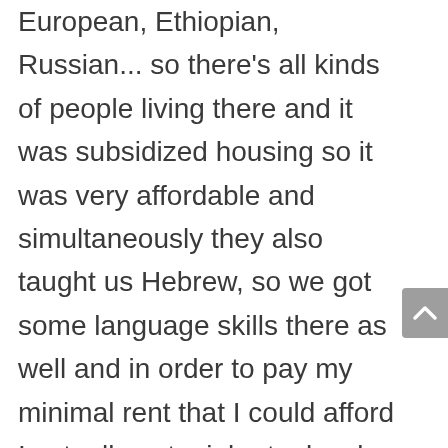European, Ethiopian, Russian... so there's all kinds of people living there and it was subsidized housing so it was very affordable and simultaneously they also taught us Hebrew, so we got some language skills there as well and in order to pay my minimal rent that I could afford I actually got a job at a local grocery store in the small town I was living in because I couldn't really get anything else. I didn't have the language skills I didn't have any professional skills at that time, I just graduated and I really didn't